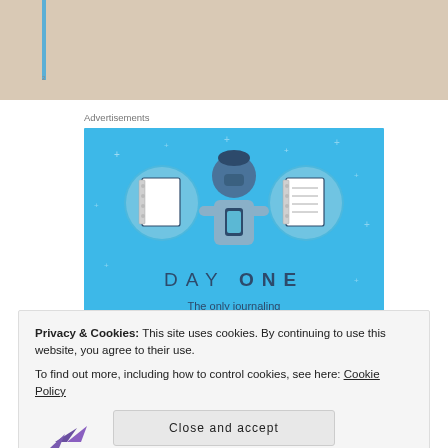[Figure (illustration): Top portion of a webpage showing a beige/tan background banner with a blue vertical line element on the left side]
Advertisements
[Figure (illustration): Day One journaling app advertisement on blue background. Shows three circular icons: blank notebook, person holding phone, lined notebook. Text reads 'DAY ONE - The only journaling app you'll ever need.']
Privacy & Cookies: This site uses cookies. By continuing to use this website, you agree to their use.
To find out more, including how to control cookies, see here: Cookie Policy
Close and accept
[Figure (logo): Purple/violet bird or logo mark at bottom left]